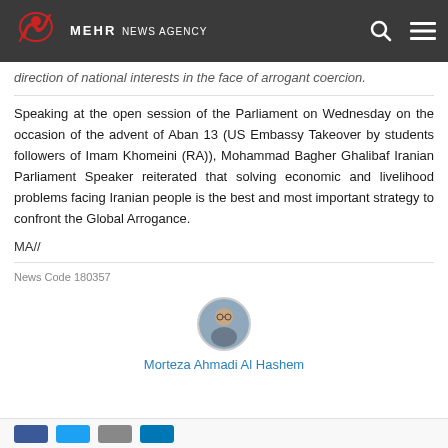MEHR NEWS AGENCY
direction of national interests in the face of arrogant coercion.
Speaking at the open session of the Parliament on Wednesday on the occasion of the advent of Aban 13 (US Embassy Takeover by students followers of Imam Khomeini (RA)), Mohammad Bagher Ghalibaf Iranian Parliament Speaker reiterated that solving economic and livelihood problems facing Iranian people is the best and most important strategy to confront the Global Arrogance.
MA//
News Code 180357
[Figure (photo): Circular avatar photo of author Morteza Ahmadi Al Hashem]
Morteza Ahmadi Al Hashem